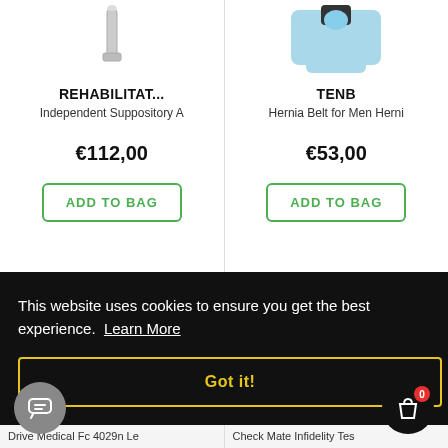[Figure (screenshot): Product image of rehabilitation suppository applicator tool (grey/white)]
REHABILITAT...
Independent Suppository A
€112,00
ADD TO BAG
[Figure (photo): Product photo of TENB hernia belt for men, light blue compression shorts]
TENB
Hernia Belt for Men Herni
€53,00
ADD TO BAG
This website uses cookies to ensure you get the best experience.  Learn More
Got it!
Drive Medical Fc 4029n Le
Check Mate Infidelity Tes